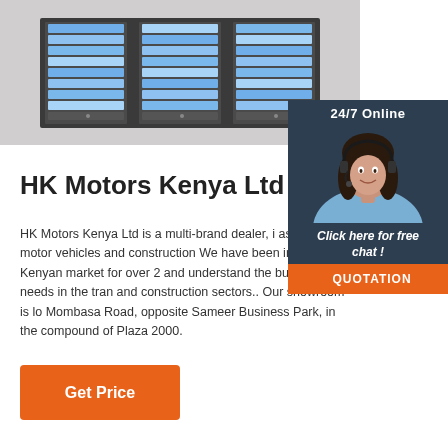[Figure (photo): Product image of a server rack or file storage unit with multiple bays, dark frame, light gray background.]
[Figure (photo): 24/7 Online customer support widget showing a woman with a headset smiling, with a dark blue background, 'Click here for free chat!' text, and an orange QUOTATION button.]
HK Motors Kenya Ltd
HK Motors Kenya Ltd is a multi-brand dealer, i assembler of motor vehicles and construction We have been in the Kenyan market for over 2 and understand the business needs in the tran and construction sectors.. Our showroom is lo Mombasa Road, opposite Sameer Business Park, in the compound of Plaza 2000.
Get Price